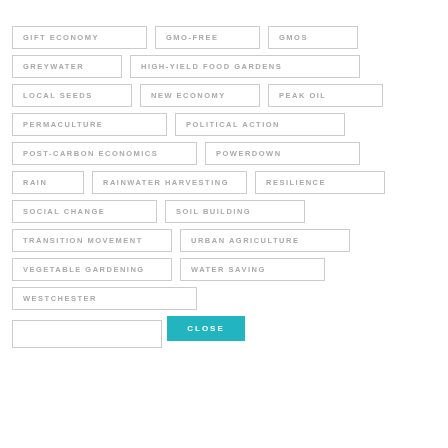GIFT ECONOMY
GMO-FREE
GMOS
GREYWATER
HIGH-YIELD FOOD GARDENS
LOCAL SEEDS
NEW ECONOMY
PEAK OIL
PERMACULTURE
POLITICAL ACTION
POST-CARBON ECONOMICS
POWERDOWN
RAIN
RAINWATER HARVESTING
RESILIENCE
SOCIAL CHANGE
SOIL BUILDING
TRANSITION MOVEMENT
URBAN AGRICULTURE
VEGETABLE GARDENING
WATER SAVING
WESTCHESTER
CLOSE